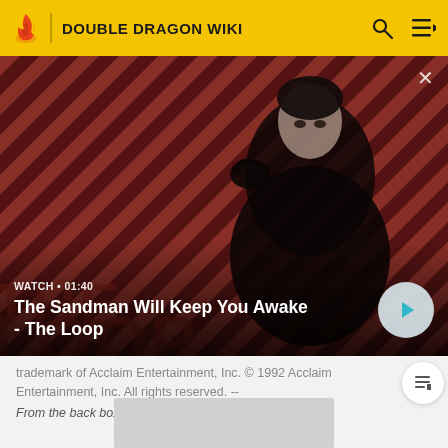DOUBLE DRAGON WIKI
[Figure (screenshot): Video thumbnail showing a dark-cloaked figure with a raven on shoulder against diagonal red and dark stripe background. Text overlay: WATCH • 01:40 / The Sandman Will Keep You Awake - The Loop. Play button visible bottom right.]
trademark of Acclaim Entertainment, Inc. © 1992 Acclaim Entertainment, Inc. All rights reserved. --
From the back box of the Genesis version.
[Figure (other): Gray placeholder image rectangle at bottom of page]